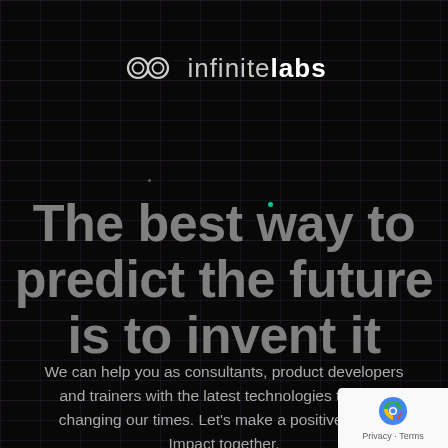[Figure (logo): Infinite Labs logo with infinity symbol and company name 'infinitelabs' in light gray text on dark background]
The best way to predict the future is to invent it
We can help you as consultants, product developers and trainers with the latest technologies that are changing our times. Let’s make a positive Social Impact together.